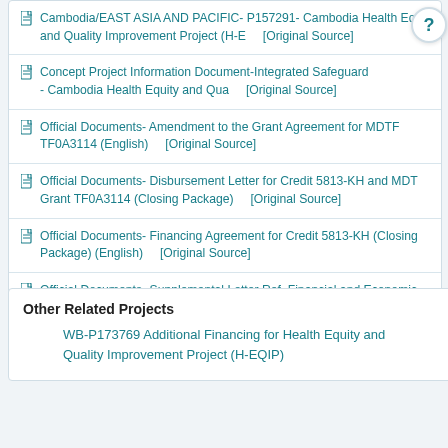Cambodia/EAST ASIA AND PACIFIC- P157291- Cambodia Health Equity and Quality Improvement Project (H-E   [Original Source]
Concept Project Information Document-Integrated Safeguard - Cambodia Health Equity and Qua   [Original Source]
Official Documents- Amendment to the Grant Agreement for MDTF TF0A3114 (English)   [Original Source]
Official Documents- Disbursement Letter for Credit 5813-KH and MDTF Grant TF0A3114 (Closing Package)   [Original Source]
Official Documents- Financing Agreement for Credit 5813-KH (Closing Package) (English)   [Original Source]
Official Documents- Supplemental Letter Ref. Financial and Economic Data for Credit 5813-KH (Closing   [Original Source]
Other Related Projects
WB-P173769 Additional Financing for Health Equity and Quality Improvement Project (H-EQIP)